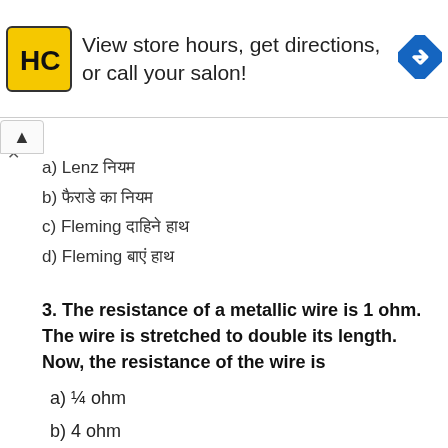[Figure (other): Advertisement banner for Hairclub salon with yellow HC logo, text 'View store hours, get directions, or call your salon!' and blue navigation arrow icon]
a) Lenz नियम
b) फैराडे का नियम
c) Fleming दाहिने हाथ
d) Fleming बाएं हाथ
3. The resistance of a metallic wire is 1 ohm. The wire is stretched to double its length. Now, the resistance of the wire is
a) ¼ ohm
b) 4 ohm
c) 2 ohm
d) 8 ohm